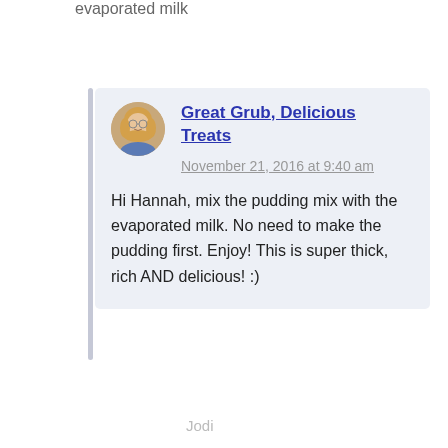evaporated milk
Great Grub, Delicious Treats
November 21, 2016 at 9:40 am
Hi Hannah, mix the pudding mix with the evaporated milk. No need to make the pudding first. Enjoy! This is super thick, rich AND delicious! :)
Jodi